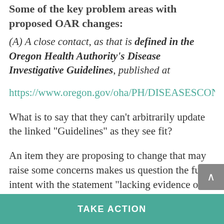Some of the key problem areas with proposed OAR changes:
(A) A close contact, as that is defined in the Oregon Health Authority's Disease Investigative Guidelines, published at
https://www.oregon.gov/oha/PH/DISEASESCONDITIONS
What is to say that they can’t arbitrarily update the linked “Guidelines” as they see fit?
An item they are proposing to change that may raise some concerns makes us question the full intent with the statement “lacking evidence of immunity;” will
TAKE ACTION